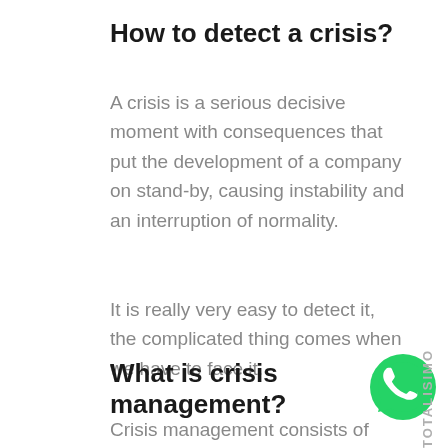How to detect a crisis?
A crisis is a serious decisive moment with consequences that put the development of a company on stand-by, causing instability and an interruption of normality.
It is really very easy to detect it, the complicated thing comes when we have to face it.
What is crisis management?
[Figure (logo): WhatsApp green circle logo with phone handset icon]
Crisis management consists of having the capacity and resources
TOTALISIMO